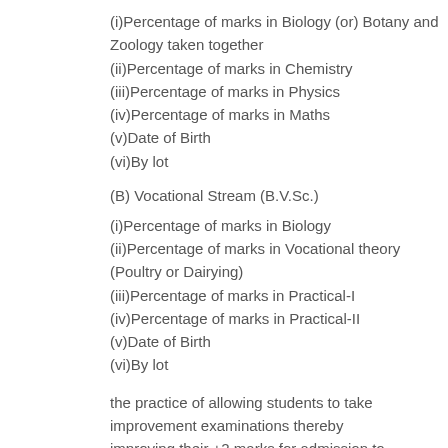(i)Percentage of marks in Biology (or) Botany and Zoology taken together
(ii)Percentage of marks in Chemistry
(iii)Percentage of marks in Physics
(iv)Percentage of marks in Maths
(v)Date of Birth
(vi)By lot
(B) Vocational Stream (B.V.Sc.)
(i)Percentage of marks in Biology
(ii)Percentage of marks in Vocational theory (Poultry or Dairying)
(iii)Percentage of marks in Practical-I
(iv)Percentage of marks in Practical-II
(v)Date of Birth
(vi)By lot
the practice of allowing students to take improvement examinations thereby improving their +2 marks for admission to professional course be discontinued